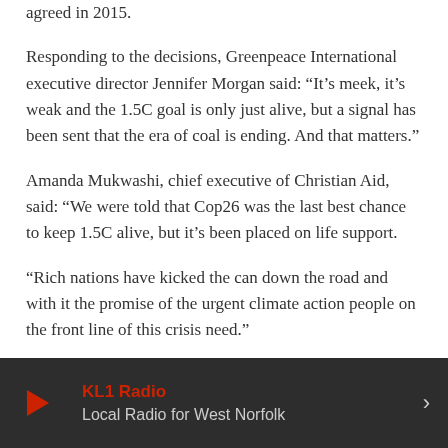agreed in 2015.
Responding to the decisions, Greenpeace International executive director Jennifer Morgan said: “It’s meek, it’s weak and the 1.5C goal is only just alive, but a signal has been sent that the era of coal is ending. And that matters.”
Amanda Mukwashi, chief executive of Christian Aid, said: “We were told that Cop26 was the last best chance to keep 1.5C alive, but it’s been placed on life support.
“Rich nations have kicked the can down the road and with it the promise of the urgent climate action people on the front line of this crisis need.”
Published: 13/11/2021 by Radio NewsHub
KL1 Radio
Local Radio for West Norfolk